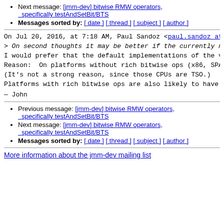Next message: [jmm-dev] bitwise RMW operators, specifically testAndSetBit/BTS
Messages sorted by: [ date ] [ thread ] [ subject ] [ author ]
On Jul 20, 2016, at 7:18 AM, Paul Sandoz <paul.sandoz at
> On second thoughts it may be better if the currently no
I would prefer that the default implementations of the va
Reason:  On platforms without rich bitwise ops (x86, SPAR
(It's not a strong reason, since those CPUs are TSO.)
Platforms with rich bitwise ops are also likely to have r
— John
Previous message: [jmm-dev] bitwise RMW operators, specifically testAndSetBit/BTS
Next message: [jmm-dev] bitwise RMW operators, specifically testAndSetBit/BTS
Messages sorted by: [ date ] [ thread ] [ subject ] [ author ]
More information about the jmm-dev mailing list